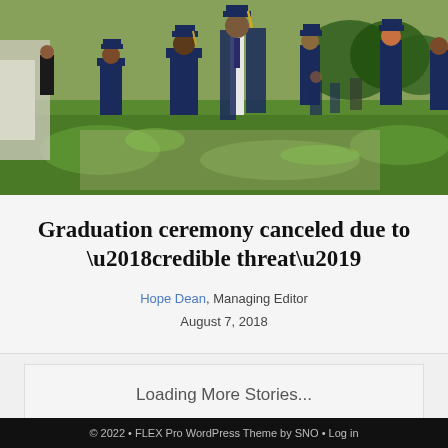[Figure (photo): Graduates in blue caps and gowns walking on a grassy campus path, several people in background, sunny day]
Graduation ceremony canceled due to ‘credible threat’
Hope Dean, Managing Editor
August 7, 2018
Loading More Stories...
© 2022 • FLEX Pro WordPress Theme by SNO • Log in